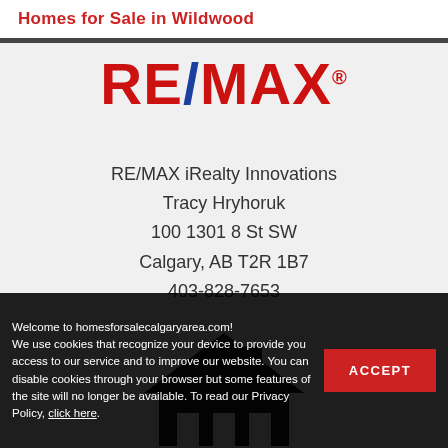Homes for Sale in Wildwood
[Figure (logo): RE/MAX logo in red and blue]
RE/MAX iRealty Innovations
Tracy Hryhoruk
100 1301 8 St SW
Calgary, AB T2R 1B7
403-828-7653
[Figure (illustration): House silhouette icon in black]
Welcome to homesforsalecalgaryarea.com! We use cookies that recognize your device to provide you access to our service and to improve our website. You can disable cookies through your browser but some features of the site will no longer be available. To read our Privacy Policy, click here.